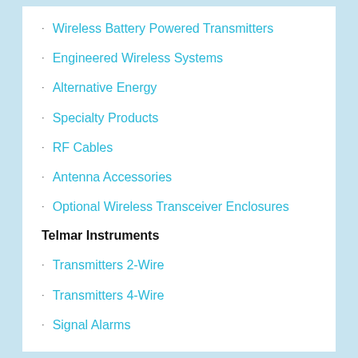Wireless Battery Powered Transmitters
Engineered Wireless Systems
Alternative Energy
Specialty Products
RF Cables
Antenna Accessories
Optional Wireless Transceiver Enclosures
Telmar Instruments
Transmitters 2-Wire
Transmitters 4-Wire
Signal Alarms